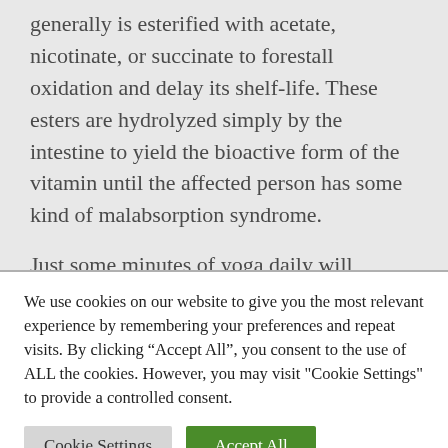generally is esterified with acetate, nicotinate, or succinate to forestall oxidation and delay its shelf-life. These esters are hydrolyzed simply by the intestine to yield the bioactive form of the vitamin until the affected person has some kind of malabsorption syndrome.
Just some minutes of yoga daily will provide that much-wanted energy enhance in our busy lives and will preserve us recent for longer. Yoga, with its distinctive synergy of physique and breath work, is
We use cookies on our website to give you the most relevant experience by remembering your preferences and repeat visits. By clicking "Accept All", you consent to the use of ALL the cookies. However, you may visit "Cookie Settings" to provide a controlled consent.